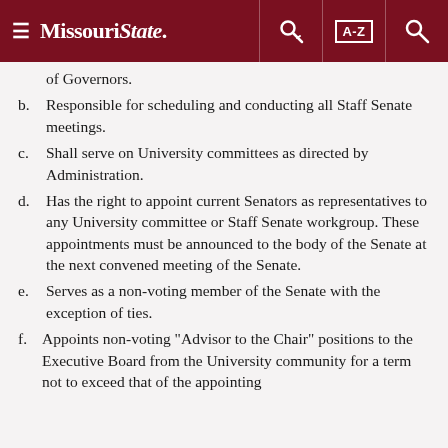Missouri State
of Governors.
b. Responsible for scheduling and conducting all Staff Senate meetings.
c. Shall serve on University committees as directed by Administration.
d. Has the right to appoint current Senators as representatives to any University committee or Staff Senate workgroup. These appointments must be announced to the body of the Senate at the next convened meeting of the Senate.
e. Serves as a non-voting member of the Senate with the exception of ties.
f. Appoints non-voting "Advisor to the Chair" positions to the Executive Board from the University community for a term not to exceed that of the appointing